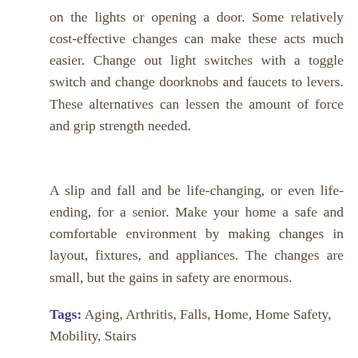on the lights or opening a door. Some relatively cost-effective changes can make these acts much easier. Change out light switches with a toggle switch and change doorknobs and faucets to levers. These alternatives can lessen the amount of force and grip strength needed.
A slip and fall and be life-changing, or even life-ending, for a senior. Make your home a safe and comfortable environment by making changes in layout, fixtures, and appliances. The changes are small, but the gains in safety are enormous.
Tags: Aging, Arthritis, Falls, Home, Home Safety, Mobility, Stairs